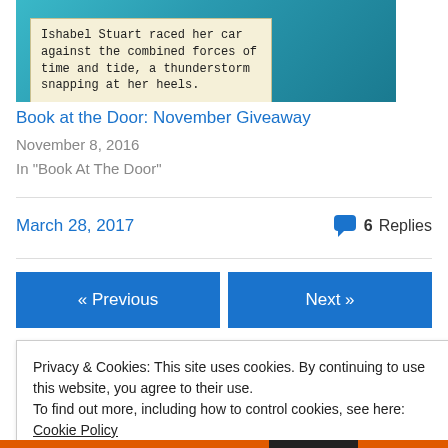[Figure (photo): Book cover image with teal/turquoise background showing a swimmer or figure in water, with a caption box overlay]
Ishabel Stuart raced her car against the combined forces of time and tide, a thunderstorm snapping at her heels.
Book at the Door: November Giveaway
November 8, 2016
In "Book At The Door"
March 28, 2017
6 Replies
« Previous
Next »
Privacy & Cookies: This site uses cookies. By continuing to use this website, you agree to their use.
To find out more, including how to control cookies, see here: Cookie Policy
Close and accept